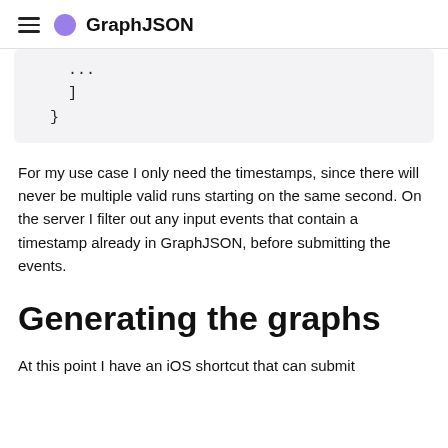GraphJSON
...
    ]
  }
For my use case I only need the timestamps, since there will never be multiple valid runs starting on the same second. On the server I filter out any input events that contain a timestamp already in GraphJSON, before submitting the events.
Generating the graphs
At this point I have an iOS shortcut that can submit